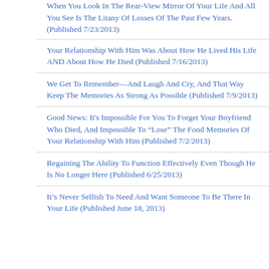When You Look In The Rear-View Mirror Of Your Life And All You See Is The Litany Of Losses Of The Past Few Years. (Published 7/23/2013)
Your Relationship With Him Was About How He Lived His Life AND About How He Died (Published 7/16/2013)
We Get To Remember—And Laugh And Cry, And That Way Keep The Memories As Strong As Possible (Published 7/9/2013)
Good News: It's Impossible For You To Forget Your Boyfriend Who Died, And Impossible To "Lose" The Fond Memories Of Your Relationship With Him (Published 7/2/2013)
Regaining The Ability To Function Effectively Even Though He Is No Longer Here (Published 6/25/2013)
It's Never Selfish To Need And Want Someone To Be There In Your Life (Published June 18, 2013)